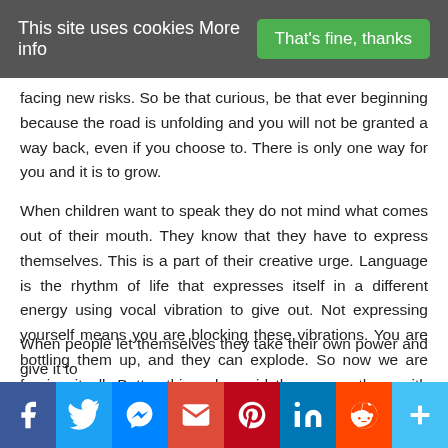This site uses cookies More info   That's fine, thanks
facing new risks. So be that curious, be that ever beginning because the road is unfolding and you will not be granted a way back, even if you choose to. There is only one way for you and it is to grow.
When children want to speak they do not mind what comes out of their mouth. They know that they have to express themselves. This is a part of their creative urge. Language is the rhythm of life that expresses itself in a different energy using vocal vibration to give out. Not expressing yourself means you are blocking these vibrations. You are bottling them up, and they can explode. So now we are freeing it all. Better things be said than cover them with stone and let them rot. Life is about living, not dying.
When people let themselves they take their own power and give it to